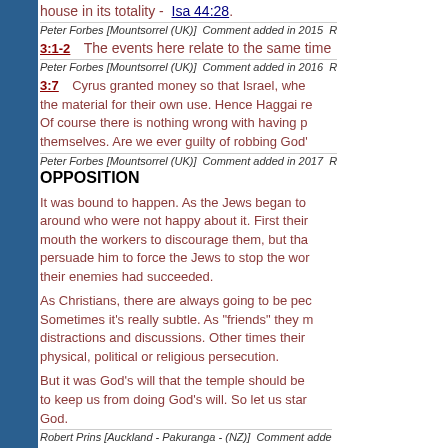house in its totality - Isa 44:28.
Peter Forbes [Mountsorrel (UK)] Comment added in 2015
3:1-2 The events here relate to the same time
Peter Forbes [Mountsorrel (UK)] Comment added in 2016
3:7 Cyrus granted money so that Israel, where the material for their own use. Hence Haggai re Of course there is nothing wrong with having p themselves. Are we ever guilty of robbing God'
Peter Forbes [Mountsorrel (UK)] Comment added in 2017
OPPOSITION
It was bound to happen. As the Jews began to around who were not happy about it. First their mouth the workers to discourage them, but tha persuade him to force the Jews to stop the wor their enemies had succeeded.
As Christians, there are always going to be pec Sometimes it's really subtle. As "friends" they m distractions and discussions. Other times their physical, political or religious persecution.
But it was God's will that the temple should be to keep us from doing God's will. So let us star God.
Robert Prins [Auckland - Pakuranga - (NZ)] Comment adde
3:4-6 We should visualise the scene. Jerusale stop the work of the Jews. However the people we allow little distractions and inconveniences